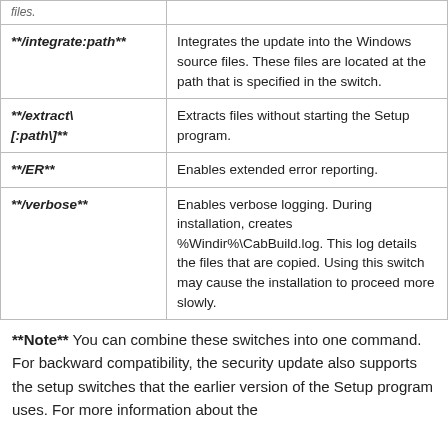| Switch | Description |
| --- | --- |
| **/integrate:path** | Integrates the update into the Windows source files. These files are located at the path that is specified in the switch. |
| **/extract\ [:path\]** | Extracts files without starting the Setup program. |
| **/ER** | Enables extended error reporting. |
| **/verbose** | Enables verbose logging. During installation, creates %Windir%\CabBuild.log. This log details the files that are copied. Using this switch may cause the installation to proceed more slowly. |
**Note** You can combine these switches into one command. For backward compatibility, the security update also supports the setup switches that the earlier version of the Setup program uses. For more information about the supported installation switches [truncated]